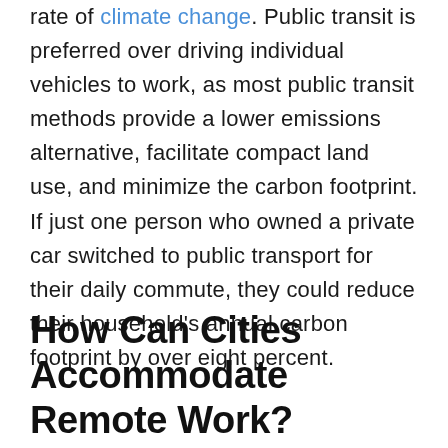rate of climate change. Public transit is preferred over driving individual vehicles to work, as most public transit methods provide a lower emissions alternative, facilitate compact land use, and minimize the carbon footprint. If just one person who owned a private car switched to public transport for their daily commute, they could reduce their household's annual carbon footprint by over eight percent.
How Can Cities Accommodate Remote Work?